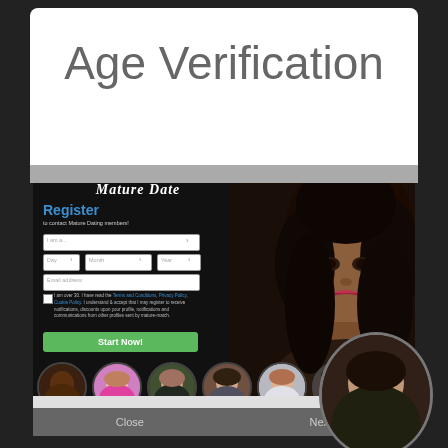Age Verification
[Figure (screenshot): Screenshot of Mature Date dating website registration page showing a form with fields for gender, date of birth, email, terms checkbox, and a Start Now button. A woman's face appears on the right side. Six circular profile photos appear at the bottom.]